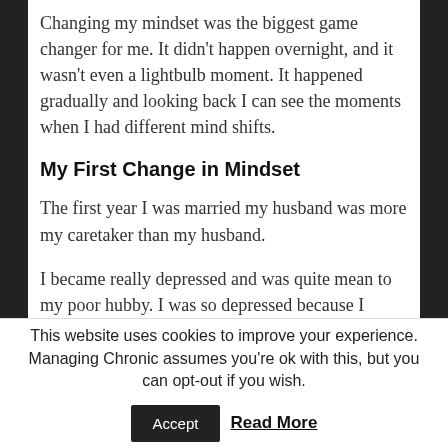Changing my mindset was the biggest game changer for me. It didn't happen overnight, and it wasn't even a lightbulb moment. It happened gradually and looking back I can see the moments when I had different mind shifts.
My First Change in Mindset
The first year I was married my husband was more my caretaker than my husband.
I became really depressed and was quite mean to my poor hubby. I was so depressed because I literally couldn't do anything around the house
This website uses cookies to improve your experience. Managing Chronic assumes you're ok with this, but you can opt-out if you wish.